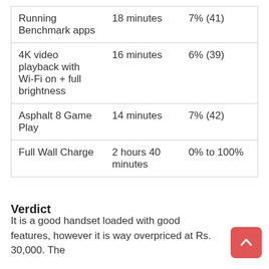| Running Benchmark apps | 18 minutes | 7% (41) |
| 4K video playback with Wi-Fi on + full brightness | 16 minutes | 6% (39) |
| Asphalt 8 Game Play | 14 minutes | 7% (42) |
| Full Wall Charge | 2 hours 40 minutes | 0% to 100% |
Verdict
It is a good handset loaded with good features, however it is way overpriced at Rs. 30,000. The